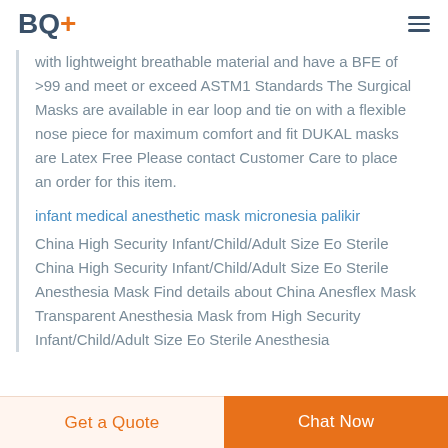BQ+
with lightweight breathable material and have a BFE of >99 and meet or exceed ASTM1 Standards The Surgical Masks are available in ear loop and tie on with a flexible nose piece for maximum comfort and fit DUKAL masks are Latex Free Please contact Customer Care to place an order for this item.
infant medical anesthetic mask micronesia palikir
China High Security Infant/Child/Adult Size Eo Sterile China High Security Infant/Child/Adult Size Eo Sterile Anesthesia Mask Find details about China Anesflex Mask Transparent Anesthesia Mask from High Security Infant/Child/Adult Size Eo Sterile Anesthesia
Get a Quote | Chat Now